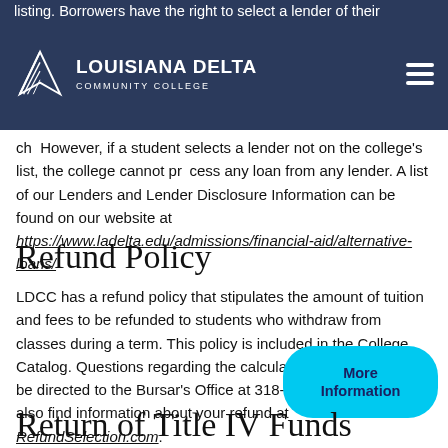Louisiana Delta Community College
listing. Borrowers have the right to select a lender of their choice. However, if a student selects a lender not on the college's list, the college cannot process any loan from any lender. A list of our Lenders and Lender Disclosure Information can be found on our website at https://www.ladelta.edu/admissions/financial-aid/alternative-loans/
Refund Policy
LDCC has a refund policy that stipulates the amount of tuition and fees to be refunded to students who withdraw from classes during a term. This policy is included in the College Catalog. Questions regarding the calculations of refunds may be directed to the Bursar's Office at 318-345-9136. You may also find information about your refund at RefundSelection.com.
Return of Title IV Funds